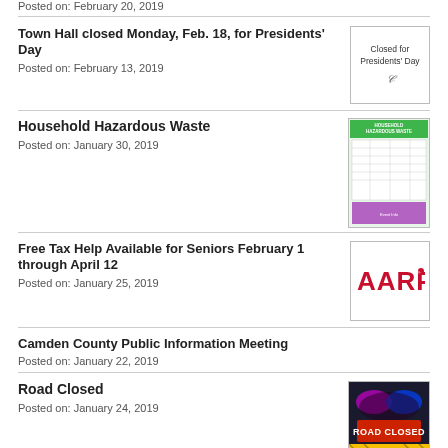Posted on: February 20, 2019
Town Hall closed Monday, Feb. 18, for Presidents' Day
Posted on: February 13, 2019
[Figure (illustration): Image with text 'Closed for Presidents' Day' with a small decorative cursive element]
Household Hazardous Waste
Posted on: January 30, 2019
[Figure (infographic): Household Hazardous Waste informational flyer with green and purple color scheme]
Free Tax Help Available for Seniors February 1 through April 12
Posted on: January 25, 2019
[Figure (logo): AARP logo in red text on white background]
Camden County Public Information Meeting
Posted on: January 22, 2019
Road Closed
Posted on: January 24, 2019
[Figure (photo): Road Closed sign with flashing police lights, yellow warning tape at bottom]